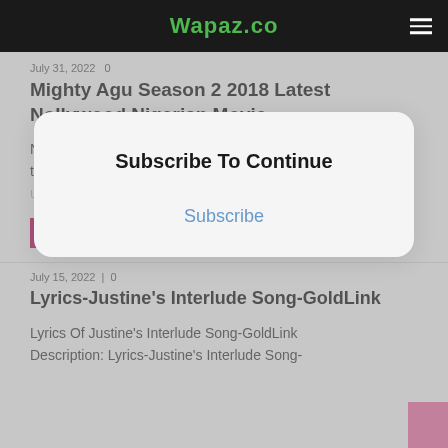Wapaz.co
July 31, 2022   0
Mighty Agu Season 2 2018 Latest Nollywood Nigerian Movie
Niceness is not honesty. When someone is extremely nice, there is always something behind it. A young man displays unexpected generosity to his…
READ MORE
[Figure (screenshot): Subscribe To Continue modal overlay with Subscribe link]
July 15, 2022   0
Lyrics-Justine's Interlude Song-GoldLink
Lyrics Of Justine's Interlude Song-GoldLink Description: Lyrics-Justine's Interlude Song-